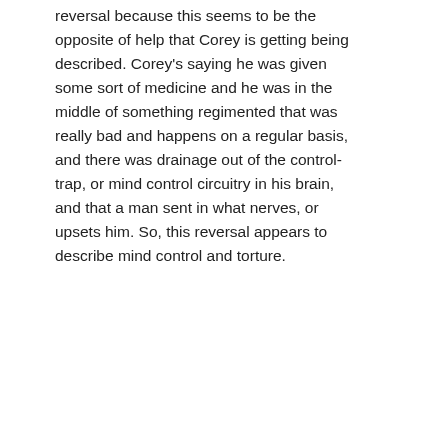reversal because this seems to be the opposite of help that Corey is getting being described. Corey's saying he was given some sort of medicine and he was in the middle of something regimented that was really bad and happens on a regular basis, and there was drainage out of the control-trap, or mind control circuitry in his brain, and that a man sent in what nerves, or upsets him. So, this reversal appears to describe mind control and torture.